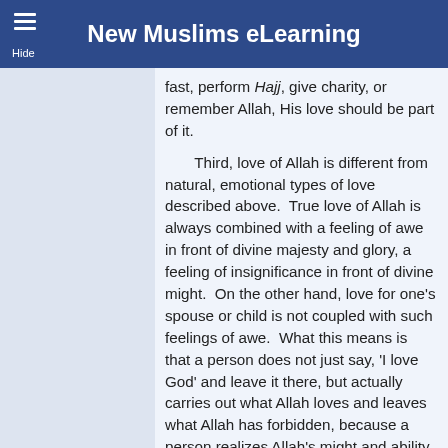New Muslims eLearning
fast, perform Hajj, give charity, or remember Allah, His love should be part of it.
Third, love of Allah is different from natural, emotional types of love described above.  True love of Allah is always combined with a feeling of awe in front of divine majesty and glory, a feeling of insignificance in front of divine might.  On the other hand, love for one's spouse or child is not coupled with such feelings of awe.  What this means is that a person does not just say, 'I love God' and leave it there, but actually carries out what Allah loves and leaves what Allah has forbidden, because a person realizes Allah's might and ability to punish.